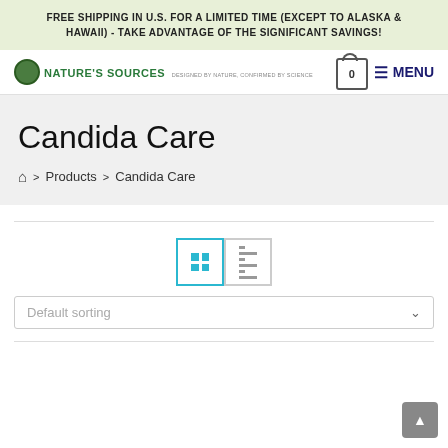FREE SHIPPING IN U.S. FOR A LIMITED TIME (EXCEPT TO ALASKA & HAWAII) - TAKE ADVANTAGE OF THE SIGNIFICANT SAVINGS!
[Figure (logo): Nature's Sources logo with green circle icon. Text: NATURE'S SOURCES - DESIGNED BY NATURE, CONFIRMED BY SCIENCE]
Candida Care
Home > Products > Candida Care
Default sorting